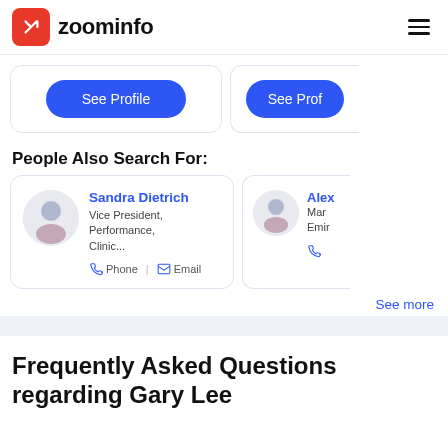zoominfo
[Figure (screenshot): Two 'See Profile' blue buttons in card containers, partially visible]
People Also Search For:
[Figure (infographic): Person card for Sandra Dietrich, Vice President, Performance, Clinic... with Phone and Email contact options. A second partially visible card for Alex, Mar, Emir with phone icon.]
See more
Frequently Asked Questions regarding Gary Lee